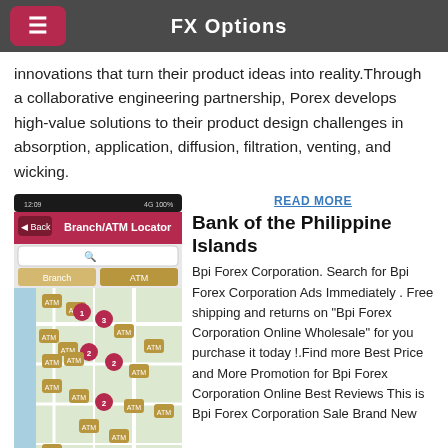FX Options
innovations that turn their product ideas into reality.Through a collaborative engineering partnership, Porex develops high-value solutions to their product design challenges in absorption, application, diffusion, filtration, venting, and wicking.
[Figure (screenshot): Mobile app screenshot showing Branch/ATM Locator interface with a map displaying ATM locations marked with red and gold pins in a Philippine coastal city.]
READ MORE
Bank of the Philippine Islands
Bpi Forex Corporation. Search for Bpi Forex Corporation Ads Immediately . Free shipping and returns on "Bpi Forex Corporation Online Wholesale" for you purchase it today !.Find more Best Price and More Promotion for Bpi Forex Corporation Online Best Reviews This is Bpi Forex Corporation Sale Brand New